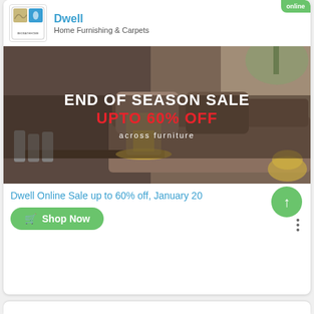[Figure (logo): Bed Bath Home logo with two square icons (tan wave and blue drop)]
Dwell
Home Furnishing & Carpets
online
[Figure (photo): Promotional banner photo of a living room with dark sofa, pillows, a glass-and-gold lantern candle holder on a coffee table, glass tumblers, and a gold decorative vase. Overlaid text reads: END OF SEASON SALE / UPTO 60% OFF / across furniture]
Dwell Online Sale up to 60% off, January 20
Shop Now